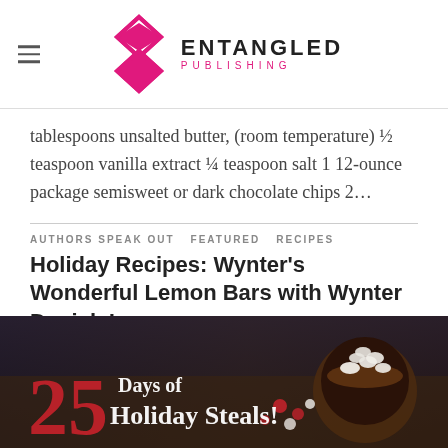ENTANGLED PUBLISHING
tablespoons unsalted butter, (room temperature) ½ teaspoon vanilla extract ¼ teaspoon salt 1 12-ounce package semisweet or dark chocolate chips 2…
AUTHORS SPEAK OUT   FEATURED   RECIPES
Holiday Recipes: Wynter's Wonderful Lemon Bars with Wynter Daniels!
By Entangled Staff on December 21, 2016
[Figure (photo): Promotional banner reading '25 Days of Holiday Steals!' with hot chocolate and marshmallows in background]